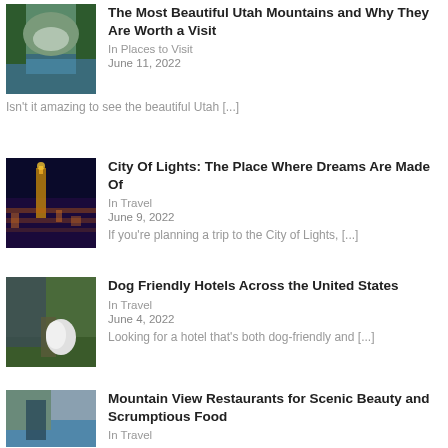[Figure (photo): Mountain landscape with lake and pine trees in Utah]
The Most Beautiful Utah Mountains and Why They Are Worth a Visit
In Places to Visit
June 11, 2022
Isn't it amazing to see the beautiful Utah [...]
[Figure (photo): Aerial nighttime city view with lights, City of Lights]
City Of Lights: The Place Where Dreams Are Made Of
In Travel
June 9, 2022
If you're planning a trip to the City of Lights, [...]
[Figure (photo): White dog standing near a tree in a hotel outdoor area]
Dog Friendly Hotels Across the United States
In Travel
June 4, 2022
Looking for a hotel that's both dog-friendly and [...]
[Figure (photo): Restaurant with mountain view and scenic landscape]
Mountain View Restaurants for Scenic Beauty and Scrumptious Food
In Travel